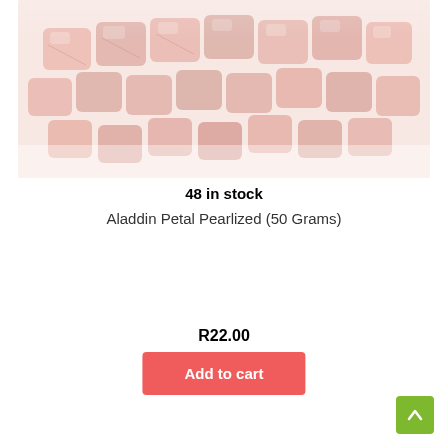[Figure (photo): Pile of pink/rose pearlized square glass beads with iridescent sheen, scattered on white background]
48 in stock
Aladdin Petal Pearlized (50 Grams)
R22.00
Add to cart